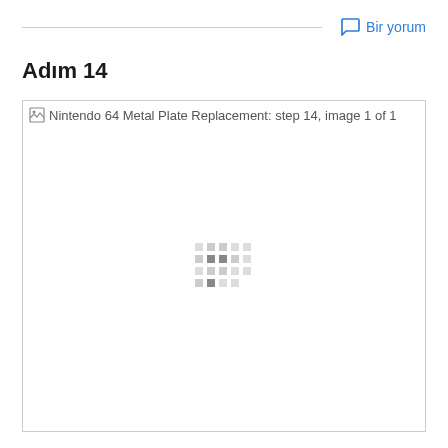Bir yorum
Adım 14
[Figure (photo): Nintendo 64 Metal Plate Replacement: step 14, image 1 of 1 — image not loaded, showing loading spinner]